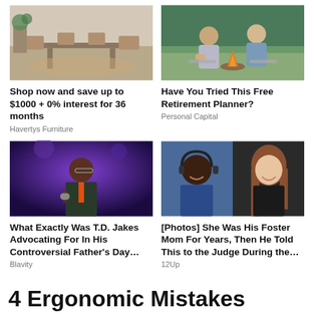[Figure (photo): Dining room furniture with wooden table and chairs on a rug]
[Figure (photo): Two older men sitting outdoors near a campfire, one holding a fishing rod]
Shop now and save up to $1000 + 0% interest for 36 months
Havertys Furniture
Have You Tried This Free Retirement Planner?
Personal Capital
[Figure (photo): Man in suit speaking into a microphone on a purple-lit stage]
[Figure (photo): Split image of a young Black boy with headphones and a smiling young woman with long hair]
What Exactly Was T.D. Jakes Advocating For In His Controversial Father's Day…
Blavity
[Photos] She Was His Foster Mom For Years, Then He Told This to the Judge During the…
12Up
4 Ergonomic Mistakes You're Probably Making Every Day